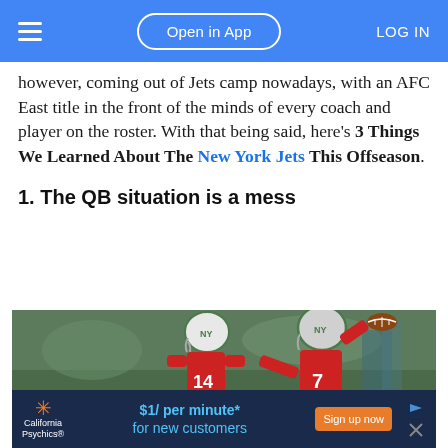Open in App  LOG IN
however, coming out of Jets camp nowadays, with an AFC East title in the front of the minds of every coach and player on the roster. With that being said, here's 3 Things We Learned About The New York Jets This Offseason.
1. The QB situation is a mess
[Figure (photo): Two New York Jets quarterbacks in red practice jerseys and green helmets. One wearing #14 stands to the left, the other wearing #7 is shown throwing a football. An advertisement overlay for California Psychics appears at the bottom reading '$1/ per minute* for new customers' with a 'Sign up now' button.]